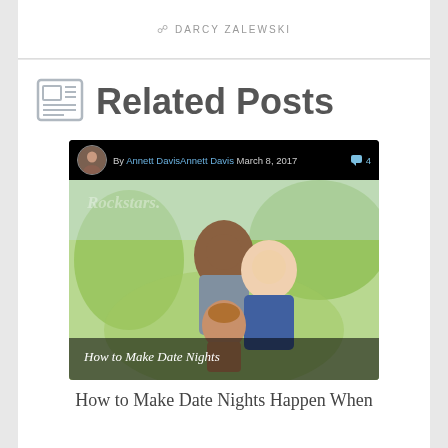DARCY ZALEWSKI
Related Posts
[Figure (screenshot): Blog post card showing a family photo (man, woman, and child smiling outdoors) with author meta bar: By Annett DavisAnnett Davis March 8, 2017 with comment count 4. Overlay text reads: How to Make Date Nights]
How to Make Date Nights Happen When